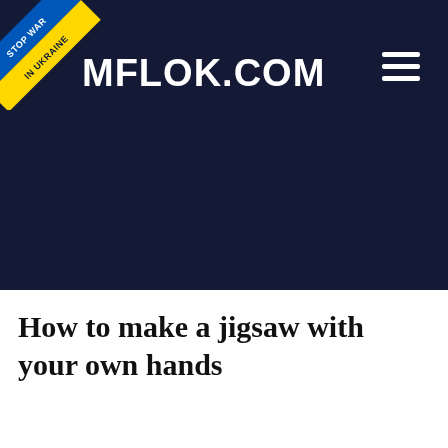MFLOK.COM
[Figure (illustration): Ukraine Stop War ribbon badge in top-left corner with blue stripe reading STOP WAR and yellow stripe reading IN UKRAINE]
How to make a jigsaw with your own hands